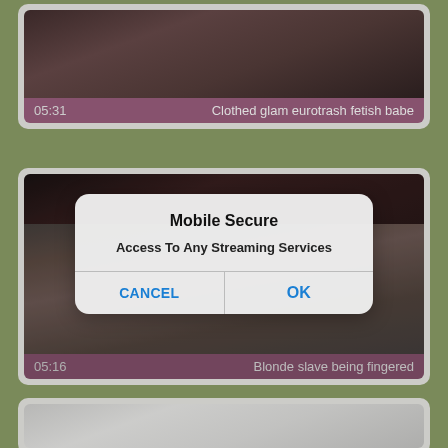[Figure (screenshot): Video thumbnail card showing partial video frame with duration 05:31 and title 'Clothed glam eurotrash fetish babe']
[Figure (screenshot): Video thumbnail card with a mobile OS dialog box overlay. Dialog title: 'Mobile Secure', message: 'Access To Any Streaming Services', buttons: CANCEL and OK. Video has duration 05:16 and title 'Blonde slave being fingered']
[Figure (screenshot): Partial video thumbnail card at bottom of screen]